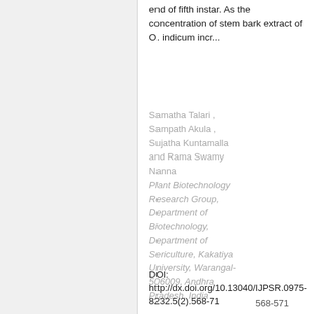end of fifth instar. As the concentration of stem bark extract of O. indicum incr...
Samatha Talari , Sampath Akula , Sujatha Kuntamalla and Rama Swamy Nanna
Plant Biotechnology Research Group, Department of Biotechnology, Department of Sericulture, Kakatiya University, Warangal-506009, Andhra Pradesh, India
DOI: http://dx.doi.org/10.13040/IJPSR.0975-8232.5(2).568-71
568-571